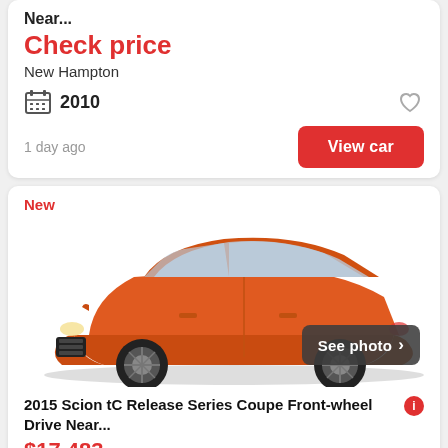Near...
Check price
New Hampton
2010
1 day ago
View car
New
[Figure (photo): Orange 2015 Scion tC Release Series Coupe, side profile view, with a dark 'See photo' button in the lower right]
2015 Scion tC Release Series Coupe Front-wheel Drive Near...
$17,483